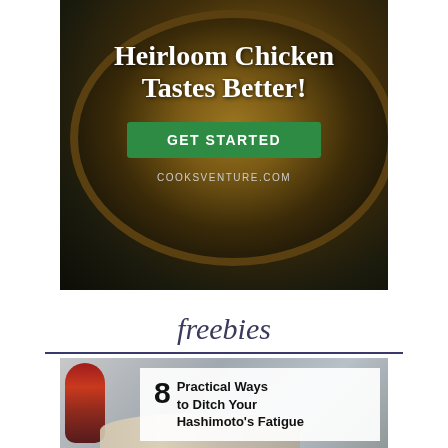[Figure (photo): Advertisement banner for CooksVenture.com showing a roasted heirloom chicken in a dark pan with lemon and herbs. Bold white text reads 'Heirloom Chicken Tastes Better!' with a green 'GET STARTED' button and URL COOKSVENTURE.COM at the bottom.]
freebies
[Figure (photo): Article thumbnail image with text overlay box reading '8 Practical Ways to Ditch Your Hashimoto's Fatigue'. Background shows a person with light hair, red berries visible on left side.]